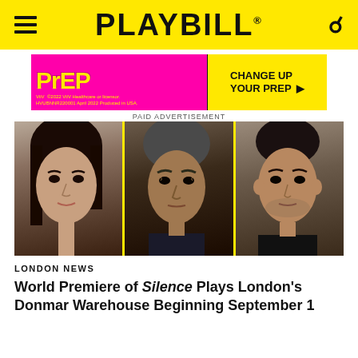PLAYBILL
[Figure (photo): Advertisement banner for PrEP medication — 'CHANGE UP YOUR PrEP' with pink and yellow background. Text: ©2022 ViiV Healthcare or licensor. HVUBNNR220001 April 2022 Produced in USA. PAID ADVERTISEMENT]
[Figure (photo): Three headshot photographs of actors side by side, separated by yellow dividers: a woman with dark hair on the left, a middle-aged man with grey-streaked hair in the center, and a younger man on the right]
LONDON NEWS
World Premiere of Silence Plays London's Donmar Warehouse Beginning September 1